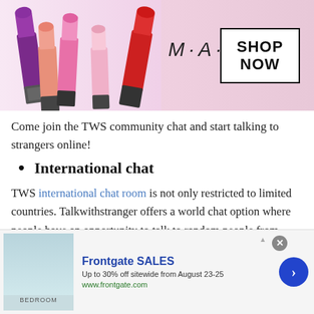[Figure (photo): MAC Cosmetics advertisement banner with colorful lipsticks on the left, MAC logo in center, and 'SHOP NOW' box on the right]
Come join the TWS community chat and start talking to strangers online!
International chat
TWS international chat room is not only restricted to limited countries. Talkwithstranger offers a world chat option where people have an opportunity to talk to random people from more than 220 countries. Wow! Doesn't it sound amazing to have millions of strangers online to whom you can talk
[Figure (screenshot): Frontgate SALES advertisement: Up to 30% off sitewide from August 23-25, www.frontgate.com, with bedroom image and blue arrow button]